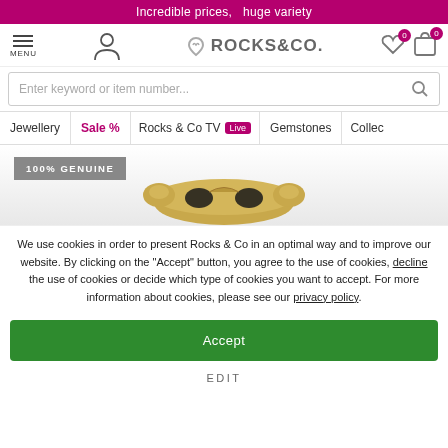Incredible prices,  huge variety
[Figure (screenshot): Rocks & Co. website navigation bar with menu, logo, user icon, wishlist and cart icons]
Enter keyword or item number...
Jewellery
Sale %
Rocks & Co TV  Live
Gemstones
Collec...
[Figure (photo): 100% GENUINE badge with a gold leopard-head ring/bangle jewelry item on gray gradient background]
We use cookies in order to present Rocks & Co in an optimal way and to improve our website. By clicking on the "Accept" button, you agree to the use of cookies, decline the use of cookies or decide which type of cookies you want to accept. For more information about cookies, please see our privacy policy.
Accept
EDIT